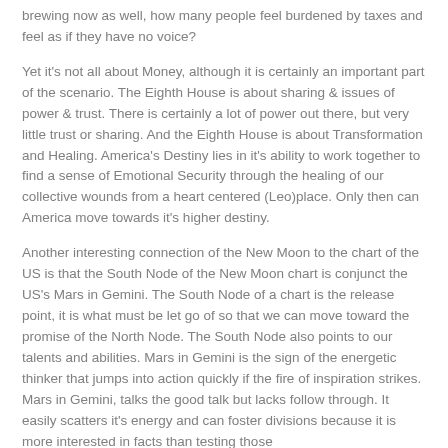brewing now as well, how many people feel burdened by taxes and feel as if they have no voice?
Yet it's not all about Money, although it is certainly an important part of the scenario. The Eighth House is about sharing & issues of power & trust. There is certainly a lot of power out there, but very little trust or sharing. And the Eighth House is about Transformation and Healing. America's Destiny lies in it's ability to work together to find a sense of Emotional Security through the healing of our collective wounds from a heart centered (Leo)place. Only then can America move towards it's higher destiny.
Another interesting connection of the New Moon to the chart of the US is that the South Node of the New Moon chart is conjunct the US's Mars in Gemini. The South Node of a chart is the release point, it is what must be let go of so that we can move toward the promise of the North Node. The South Node also points to our talents and abilities. Mars in Gemini is the sign of the energetic thinker that jumps into action quickly if the fire of inspiration strikes. Mars in Gemini, talks the good talk but lacks follow through. It easily scatters it's energy and can foster divisions because it is more interested in facts than testing those